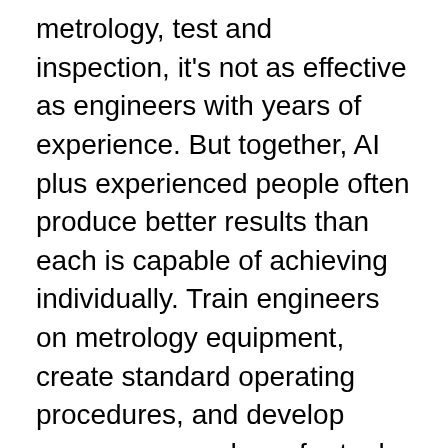metrology, test and inspection, it's not as effective as engineers with years of experience. But together, AI plus experienced people often produce better results than each is capable of achieving individually. Train engineers on metrology equipment, create standard operating procedures, and develop recovery procedures for tool-down situations; Tool Owner: maintain SPC data, collect uptime data, participate in tool efficiency projects; Develop metrology recipes where applicable to facilitate turnkey operations Education & Experience: Senior Metrology Engineer, 10/2011 to Current Company Name – City, State. Perform refurbishment, installation, and de-installation of KLA-Tencor AIT and SP1 wafer inspection systems. Metrology Engineering Internship. SHL Medical is a world-leading solution provider in the device...